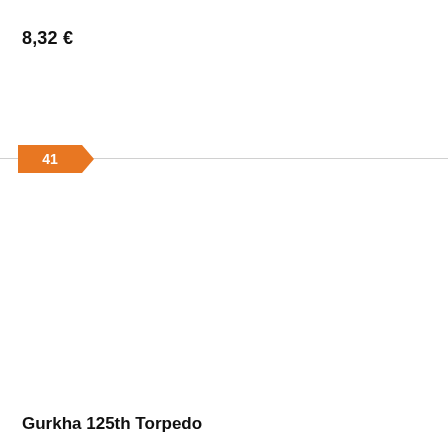8,32 €
41
Gurkha 125th Torpedo